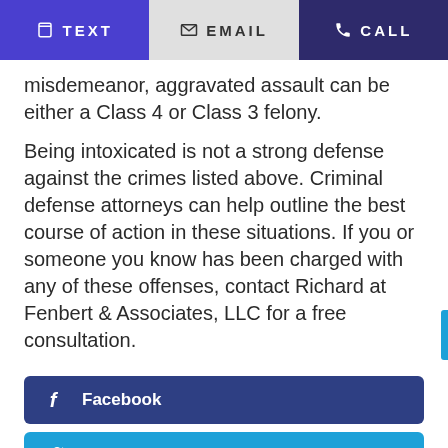TEXT | EMAIL | CALL
misdemeanor, aggravated assault can be either a Class 4 or Class 3 felony.
Being intoxicated is not a strong defense against the crimes listed above. Criminal defense attorneys can help outline the best course of action in these situations. If you or someone you know has been charged with any of these offenses, contact Richard at Fenbert & Associates, LLC for a free consultation.
Facebook
Twitter 1
LinkedIn 1